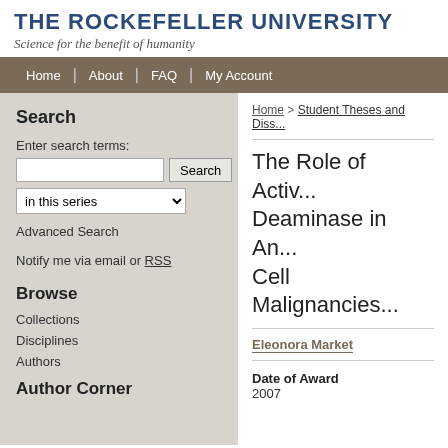THE ROCKEFELLER UNIVERSITY
Science for the benefit of humanity
Home | About | FAQ | My Account
Search
Enter search terms:
in this series
Advanced Search
Notify me via email or RSS
Browse
Collections
Disciplines
Authors
Author Corner
Home > Student Theses and Diss...
The Role of Activ... Deaminase in An... Cell Malignancies...
Eleonora Market
Date of Award
2007